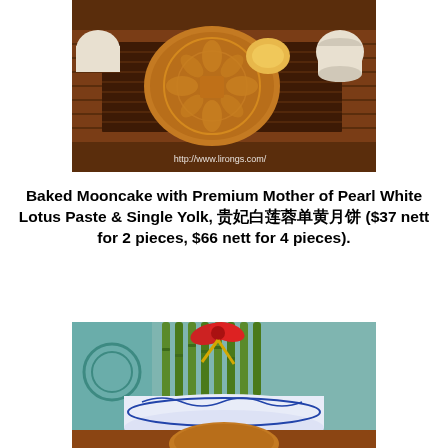[Figure (photo): A baked mooncake with intricate floral and Chinese character patterns on top, placed on a wooden tea tray with teacups. Watermark reads http://www.lirongs.com/]
Baked Mooncake with Premium Mother of Pearl White Lotus Paste & Single Yolk, 贵妃白莲蓉单黄月饼 ($37 nett for 2 pieces, $66 nett for 4 pieces).
[Figure (photo): A baked mooncake shown in the foreground with a blue and white Chinese porcelain bowl containing lucky bamboo stalks with red and gold ribbon decoration in the background.]